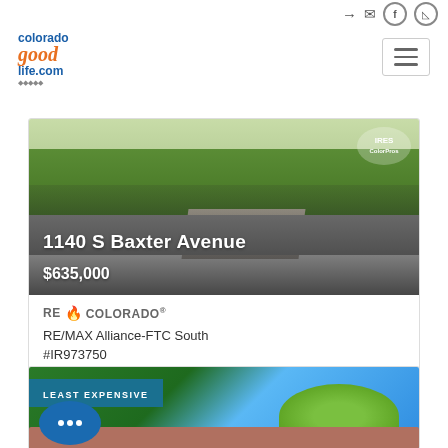Navigation icons: login, mail, Facebook, Instagram
[Figure (logo): coloradogoodlife.com logo with blue and orange text]
[Figure (screenshot): Hamburger menu button (three horizontal lines)]
[Figure (photo): Aerial/street view of property at 1140 S Baxter Avenue showing green lawn and driveway with IRES ColorProper watermark]
1140 S Baxter Avenue
$635,000
RE COLORADO
RE/MAX Alliance-FTC South
#IR973750
[Figure (photo): Partial photo of second property listing showing green trees against blue sky with LEAST EXPENSIVE badge and chat bubble overlay]